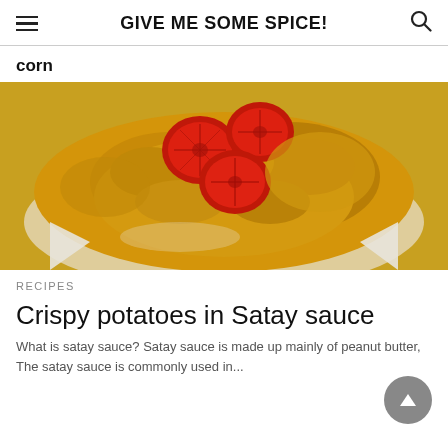GIVE ME SOME SPICE!
corn
[Figure (photo): A close-up photo of a dish of crispy potatoes in satay sauce served in a white square bowl, topped with sliced red tomatoes and yellow curry-like sauce.]
RECIPES
Crispy potatoes in Satay sauce
What is satay sauce? Satay sauce is made up mainly of peanut butter,  The satay sauce is commonly used in...